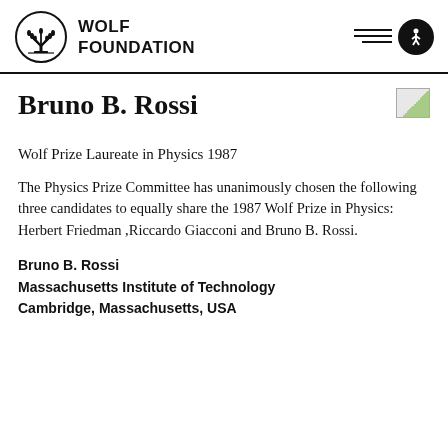WOLF FOUNDATION
Bruno B. Rossi
[Figure (photo): Small broken/placeholder image icon for portrait photo]
Wolf Prize Laureate in Physics 1987
The Physics Prize Committee has unanimously chosen the following three candidates to equally share the 1987 Wolf Prize in Physics: Herbert Friedman ,Riccardo Giacconi and Bruno B. Rossi.
Bruno B. Rossi
Massachusetts Institute of Technology
Cambridge, Massachusetts, USA